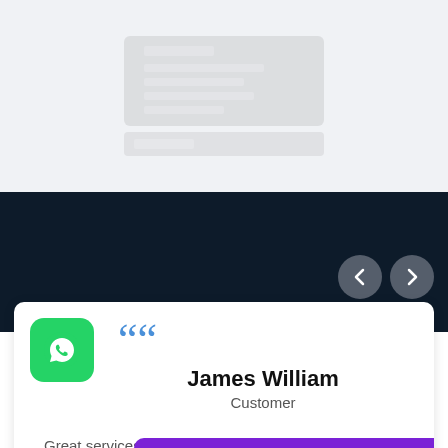[Figure (screenshot): Faded/watermark background image in light gray section at top]
[Figure (illustration): Dark navy navigation section with left and right chevron arrow buttons]
[Figure (illustration): WhatsApp green icon with phone/chat symbol]
““
James William
Customer
Great services... great and ava...
Chat now